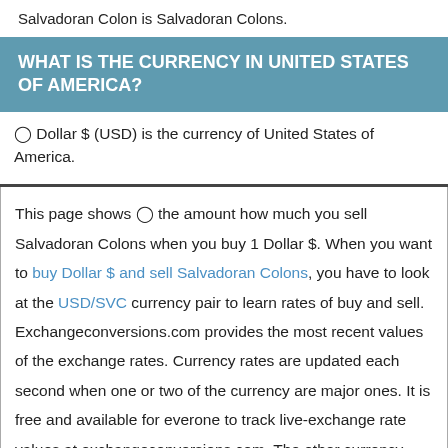Salvadoran Colon is Salvadoran Colons.
WHAT IS THE CURRENCY IN UNITED STATES OF AMERICA?
◉ Dollar $ (USD) is the currency of United States of America.
This page shows ◉ the amount how much you sell Salvadoran Colons when you buy 1 Dollar $. When you want to buy Dollar $ and sell Salvadoran Colons, you have to look at the USD/SVC currency pair to learn rates of buy and sell. Exchangeconversions.com provides the most recent values of the exchange rates. Currency rates are updated each second when one or two of the currency are major ones. It is free and available for everone to track live-exchange rate values at exchangeconversions.com. The other currency pair results are